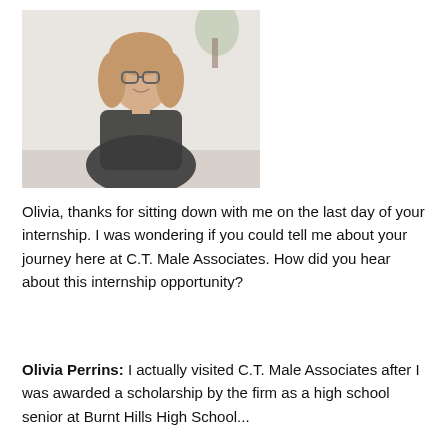[Figure (photo): Photo of Olivia Perrins, a young woman with glasses and long hair, wearing a black t-shirt, sitting and smiling in an office setting with a plant in the background.]
Olivia, thanks for sitting down with me on the last day of your internship. I was wondering if you could tell me about your journey here at C.T. Male Associates. How did you hear about this internship opportunity?
Olivia Perrins: I actually visited C.T. Male Associates after I was awarded a scholarship by the firm as a high school senior at Burnt Hills High School...